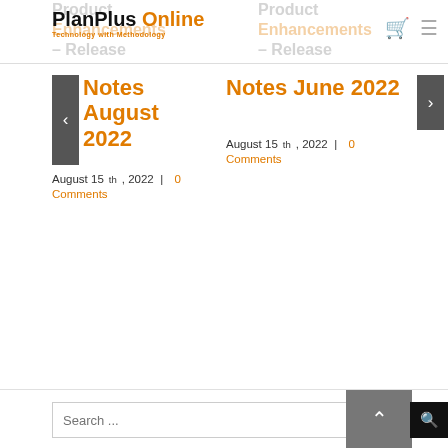PlanPlus Online — Technology with Methodology
Product Enhancements – Release Notes August 2022
August 15th, 2022  |  0 Comments
Product Enhancements – Release Notes June 2022
August 15th, 2022  |  0 Comments
Search ...